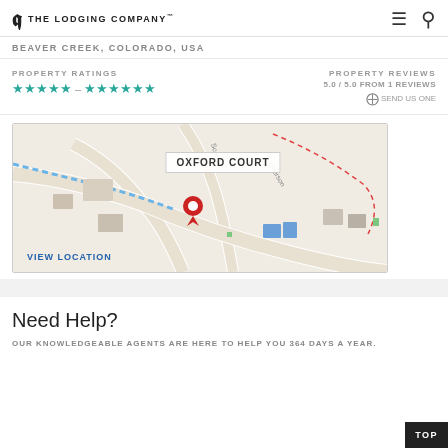THE LODGING COMPANY
BEAVER CREEK, COLORADO, USA
PROPERTY RATINGS ★★★★★ – ★★★★★★
PROPERTY REVIEWS 5.0 / 5.0 FROM 1 REVIEWS ⊕ SEND US ONE
[Figure (map): Map showing Oxford Court location in Beaver Creek with red pin marker and VIEW LOCATION link]
Need Help?
OUR KNOWLEDGEABLE AGENTS ARE HERE TO HELP YOU 364 DAYS A YEAR.